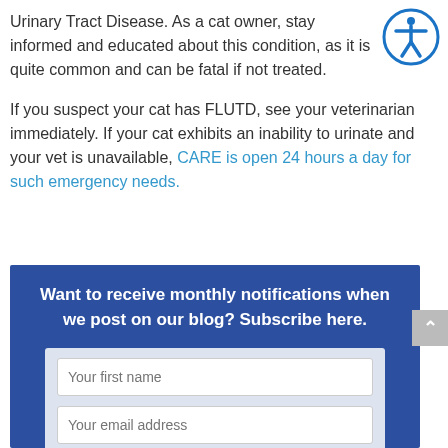Urinary Tract Disease. As a cat owner, stay informed and educated about this condition, as it is quite common and can be fatal if not treated.
If you suspect your cat has FLUTD, see your veterinarian immediately. If your cat exhibits an inability to urinate and your vet is unavailable, CARE is open 24 hours a day for such emergency needs.
Want to receive monthly notifications when we post on our blog? Subscribe here.